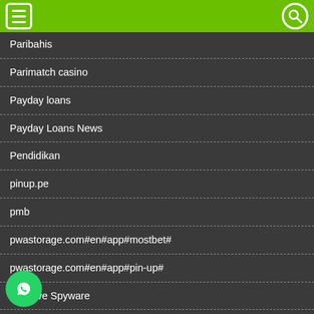Paribahis
Parimatch casino
Payday loans
Payday Loans News
Pendidikan
pinup.pe
pmb
pwastorage.com#en#app#mostbet#
pwastorage.com#en#app#pin-up#
Remove Spyware
Reparar Dlls de Windows
sci.pe
ence
seni